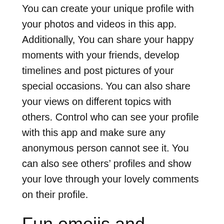You can create your unique profile with your photos and videos in this app. Additionally, You can share your happy moments with your friends, develop timelines and post pictures of your special occasions. You can also share your views on different topics with others. Control who can see your profile with this app and make sure any anonymous person cannot see it. You can also see others’ profiles and show your love through your lovely comments on their profile.
Fun emojis and stickers
This app has a collection of different emojis and stickers for you. You can express your emotions with others through stickers. All the stickers and emojis are of high quality and are designed by the top professionals with extreme care. For every emotion, you will find an emoji. You also use third-party apps to add more fun stickers